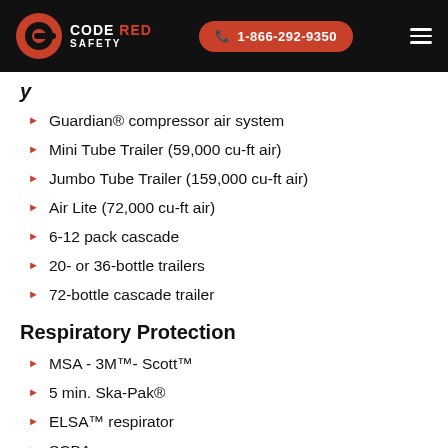CODE RED SAFETY | 1-866-292-9350
...y
Guardian® compressor air system
Mini Tube Trailer (59,000 cu-ft air)
Jumbo Tube Trailer (159,000 cu-ft air)
Air Lite (72,000 cu-ft air)
6-12 pack cascade
20- or 36-bottle trailers
72-bottle cascade trailer
Respiratory Protection
MSA - 3M™- Scott™
5 min. Ska-Pak®
ELSA™ respirator
SCBA
APP, PAPP, SAR